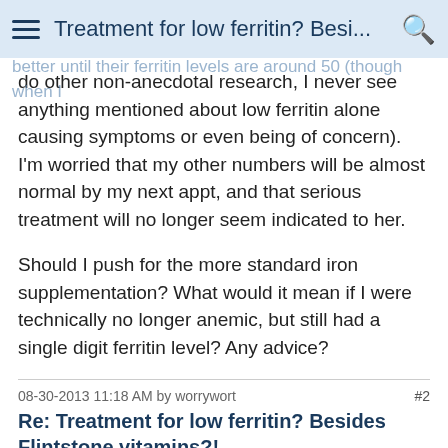Treatment for low ferritin? Besi...
level is going to increase significantly this way. I keep reading on other boards about how people don't start to feel better until their ferritin levels are around 50 (though when I do other non-anecdotal research, I never see anything mentioned about low ferritin alone causing symptoms or even being of concern). I'm worried that my other numbers will be almost normal by my next appt, and that serious treatment will no longer seem indicated to her.
Should I push for the more standard iron supplementation? What would it mean if I were technically no longer anemic, but still had a single digit ferritin level? Any advice?
08-30-2013 11:18 AM by worrywort   #2
Re: Treatment for low ferritin? Besides Flintstone vitamins?!
Quote: